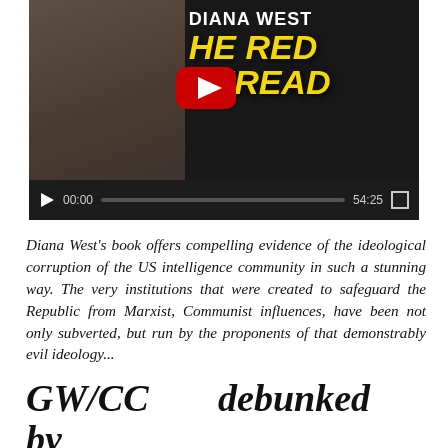[Figure (screenshot): YouTube video thumbnail showing Diana West with 'THE RED THREAD' text, with video player controls showing 00:00 / 54:25]
Diana West's book offers compelling evidence of the ideological corruption of the US intelligence community in such a stunning way. The very institutions that were created to safeguard the Republic from Marxist, Communist influences, have been not only subverted, but run by the proponents of that demonstrably evil ideology...
GW/CC debunked by premier climatologist